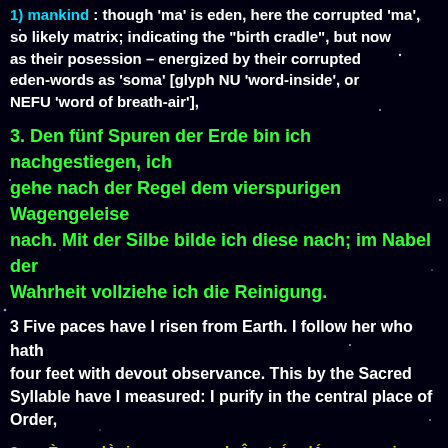1) mankind : though 'ma' is eden, here the corrupted 'ma', so likely matrix; indicating the "birth cradle", but now as their posession – energized by their corrupted eden-words as 'soma' [glyph NU 'word-inside', or NEFU 'word of breath-air'],
3. Den fünf Spuren der Erde bin ich nachgestiegen, ich gehe nach der Regel dem vierspurigen Wagengeleise nach. Mit der Silbe bilde ich diese nach; im Nabel der Wahrheit vollziehe ich die Reinigung.
3 Five paces have I risen from Earth. I follow her who hath four feet with devout observance. This by the Sacred Syllable have I measured: I purify in the central place of Order,
3a paÈca padÀni rupo anv arohaÎ catuÍpadÁm anv emi vratena
3c akÍareÉa prati mima etÀm Átasya nÀbhÀv adhi sam purÀmi